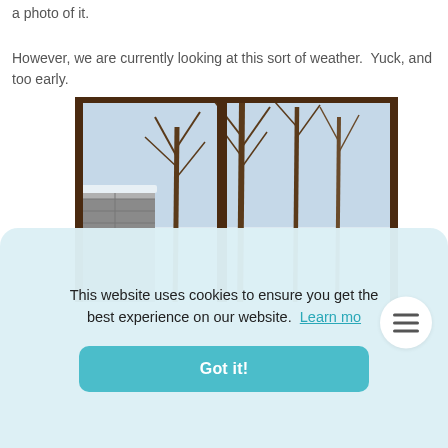a photo of it.
However, we are currently looking at this sort of weather.  Yuck, and too early.
[Figure (photo): View from inside through a window with a wooden frame, showing a snowy winter scene with bare deciduous trees, a stone/brick wall or retaining wall with snow on top, and a partly blue sky in the background.]
This website uses cookies to ensure you get the best experience on our website.  Learn mo
Got it!